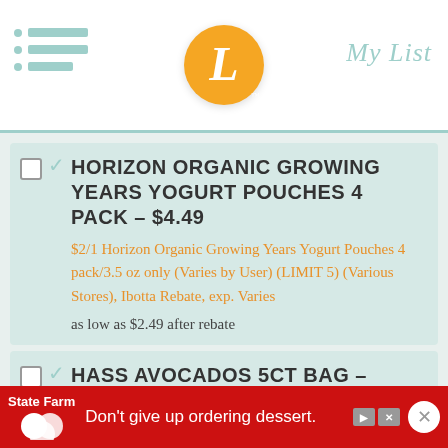My List
HORIZON ORGANIC GROWING YEARS YOGURT POUCHES 4 PACK – $4.49 | $2/1 Horizon Organic Growing Years Yogurt Pouches 4 pack/3.5 oz only (Varies by User) (LIMIT 5) (Various Stores), Ibotta Rebate, exp. Varies | as low as $2.49 after rebate
HASS AVOCADOS 5CT BAG – $4.99
WHOLESOME PANTRY ORGANIC SALAD 5OZ – $2.00
[Figure (screenshot): State Farm advertisement banner: red background with State Farm logo and text 'Don't give up ordering dessert.']